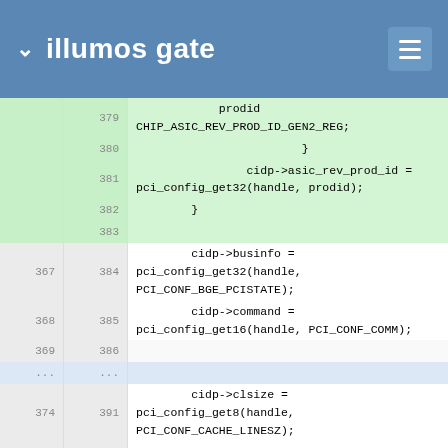illumos gate
[Figure (screenshot): Code diff view showing C source code lines 379-393 and their added counterparts. Green highlighted rows show added lines. The code involves cidp->asic_rev_prod_id, cidp->businfo, cidp->command, cidp->clsize, cidp->latency assignments using pci_config_get functions.]